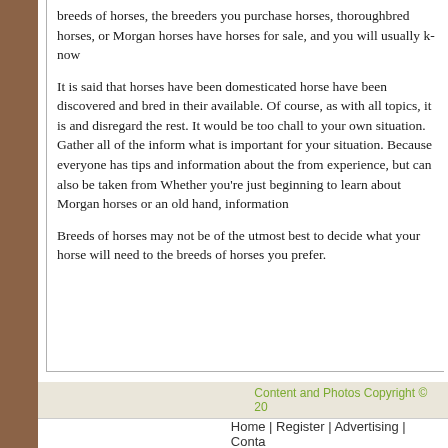breeds of horses, the breeders you purcha... horses, thoroughbred horses, or Morgan h... have horses for sale, and you will usually k...
It is said that horses have been domestica... horse have been discovered and bred in th... available.  Of course, as with all topics, it is... and disregard the rest.  It would be too cha... to your own situation.  Gather all of the info... what is important for your situation.  Becau... everyone has tips and information about th... from experience, but can also be taken fro... Whether you're just beginning to learn abo... Morgan horses or an old hand, informatio...
Breeds of horses may not be of the utmos... best to decide what your horse will need to... the breeds of horses you prefer.
Content and Photos Copyright © 20...
Home | Register | Advertising | Conta...